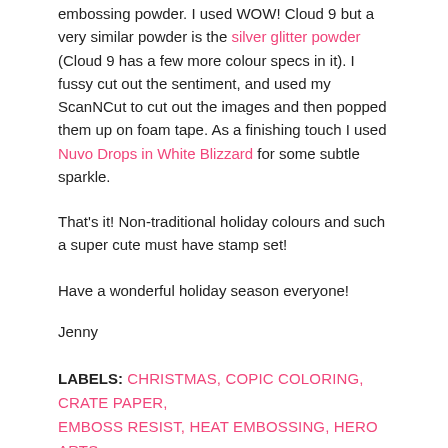embossing powder. I used WOW! Cloud 9 but a very similar powder is the silver glitter powder (Cloud 9 has a few more colour specs in it). I fussy cut out the sentiment, and used my ScanNCut to cut out the images and then popped them up on foam tape. As a finishing touch I used Nuvo Drops in White Blizzard for some subtle sparkle.
That's it! Non-traditional holiday colours and such a super cute must have stamp set!
Have a wonderful holiday season everyone!
Jenny
LABELS: CHRISTMAS, COPIC COLORING, CRATE PAPER, EMBOSS RESIST, HEAT EMBOSSING, HERO ARTS, HOLIDAYS, INK BLENDING, JENNY COLACICCO, MASKING, PINK, SNOWFLAKE
SHARE